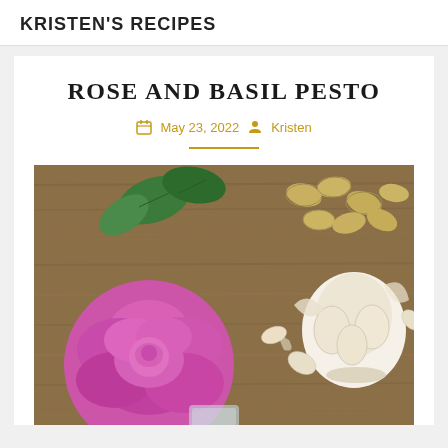KRISTEN'S RECIPES
ROSE AND BASIL PESTO
May 23, 2022  Kristen
[Figure (photo): Overhead photo on a wooden surface showing a pink rose, garlic bulb with loose cloves, green basil leaves, and scattered pistachios/almonds.]